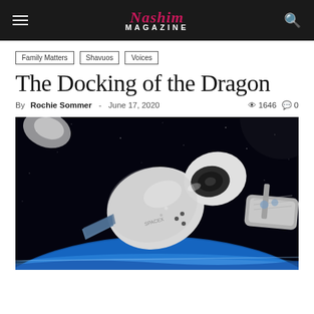Nashim Magazine
Family Matters
Shavuos
Voices
The Docking of the Dragon
By Rochie Sommer - June 17, 2020   1646   0
[Figure (photo): SpaceX Crew Dragon spacecraft approaching the International Space Station docking port in space, with Earth's blue horizon visible at the bottom.]